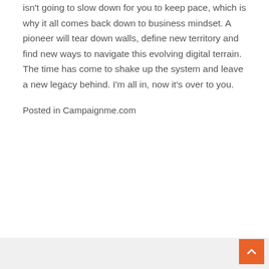isn't going to slow down for you to keep pace, which is why it all comes back down to business mindset. A pioneer will tear down walls, define new territory and find new ways to navigate this evolving digital terrain. The time has come to shake up the system and leave a new legacy behind. I'm all in, now it's over to you.
Posted in Campaignme.com